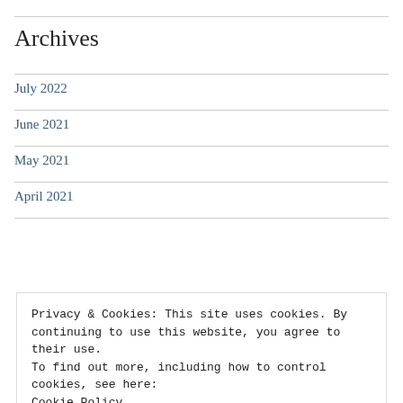Archives
July 2022
June 2021
May 2021
April 2021
Privacy & Cookies: This site uses cookies. By continuing to use this website, you agree to their use.
To find out more, including how to control cookies, see here:
Cookie Policy
Close and accept